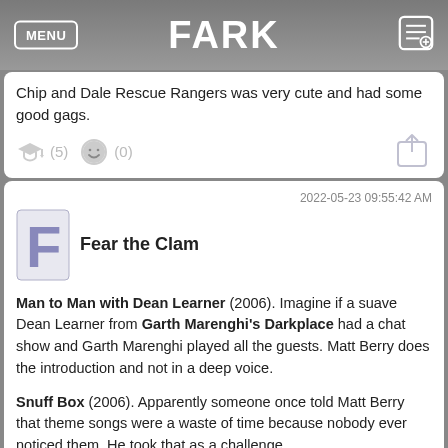MENU | FARK
Chip and Dale Rescue Rangers was very cute and had some good gags.
(5)  (0)
2022-05-23 09:55:42 AM
Fear the Clam
Man to Man with Dean Learner (2006). Imagine if a suave Dean Learner from Garth Marenghi's Darkplace had a chat show and Garth Marenghi played all the guests. Matt Berry does the introduction and not in a deep voice.

Snuff Box (2006). Apparently someone once told Matt Berry that theme songs were a waste of time because nobody ever noticed them. He took that as a challenge.